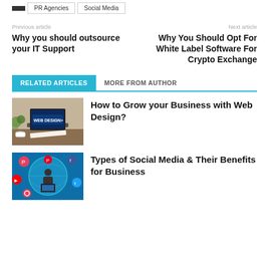PR Agencies
Social Media
Previous article
Next article
Why you should outsource your IT Support
Why You Should Opt For White Label Software For Crypto Exchange
RELATED ARTICLES  MORE FROM AUTHOR
[Figure (photo): Web design themed image showing a laptop with 'WEB DESIGN>' text on screen, with coffee cup and desk items]
How to Grow your Business with Web Design?
[Figure (photo): Social media themed blue image showing a person at laptop with social media icons around a globe]
Types of Social Media & Their Benefits for Business